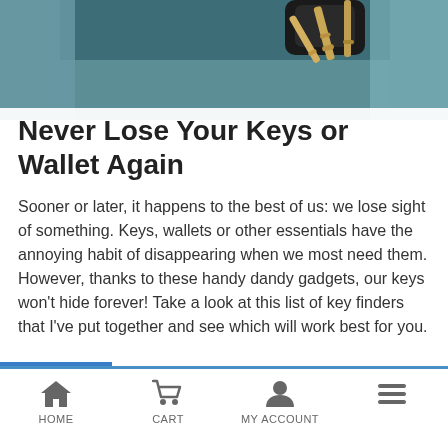[Figure (photo): Top portion of a photo showing keys on a dark teal/blue surface, with a black key fob visible at the top]
Never Lose Your Keys or Wallet Again
Sooner or later, it happens to the best of us: we lose sight of something. Keys, wallets or other essentials have the annoying habit of disappearing when we most need them. However, thanks to these handy dandy gadgets, our keys won't hide forever! Take a look at this list of key finders that I've put together and see which will work best for you.
[Figure (photo): Bottom photo showing a patio or outdoor area with a brown/orange patio umbrella, white fence panels, and decorative wall items on the left side]
HOME   CART   MY ACCOUNT